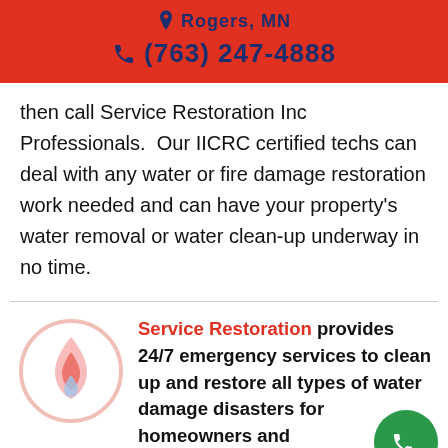Rogers, MN | (763) 247-4888
then call Service Restoration Inc Professionals.  Our IICRC certified techs can deal with any water or fire damage restoration work needed and can have your property's water removal or water clean-up underway in no time.
Service Restoration provides 24/7 emergency services to clean up and restore all types of water damage disasters for homeowners and